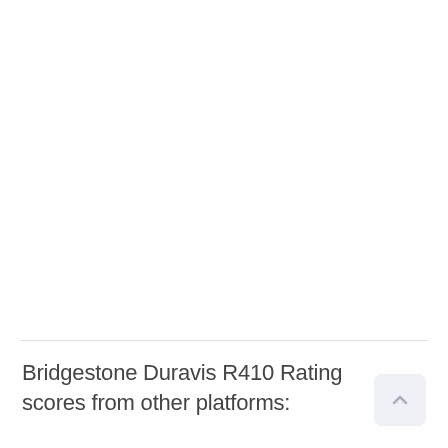Bridgestone Duravis R410 Rating scores from other platforms: